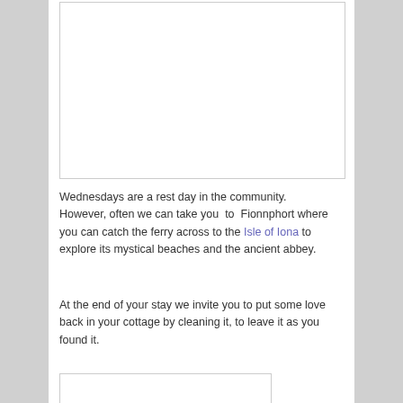[Figure (photo): Large image placeholder with white background and thin border, no visible content]
Wednesdays are a rest day in the community.  However, often we can take you  to  Fionnphort where you can catch the ferry across to the Isle of Iona to explore its mystical beaches and the ancient abbey.
At the end of your stay we invite you to put some love back in your cottage by cleaning it, to leave it as you found it.
[Figure (photo): Partial image placeholder at the bottom with white background and thin border]